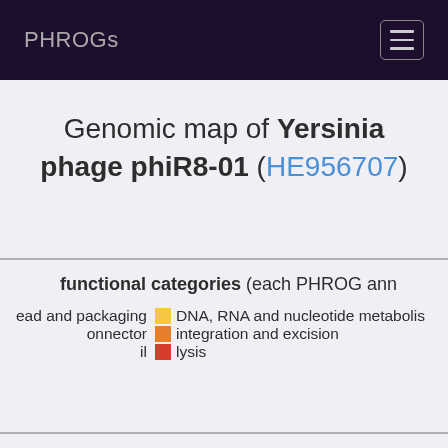PHROGs
Genomic map of Yersinia phage phiR8-01 (HE956707)
functional categories (each PHROG ann...
head and packaging
DNA, RNA and nucleotide metabolism
connector
integration and excision
lysis